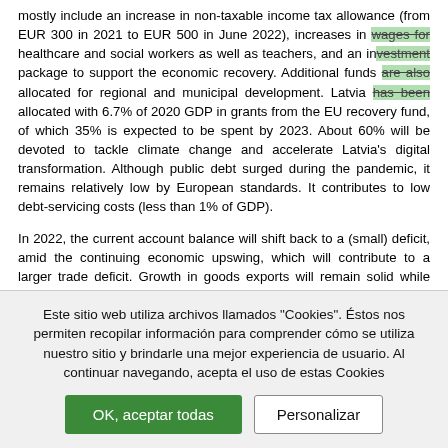mostly include an increase in non-taxable income tax allowance (from EUR 300 in 2021 to EUR 500 in June 2022), increases in wages for healthcare and social workers as well as teachers, and an investment package to support the economic recovery. Additional funds are also allocated for regional and municipal development. Latvia has been allocated with 6.7% of 2020 GDP in grants from the EU recovery fund, of which 35% is expected to be spent by 2023. About 60% will be devoted to tackle climate change and accelerate Latvia's digital transformation. Although public debt surged during the pandemic, it remains relatively low by European standards. It contributes to low debt-servicing costs (less than 1% of GDP).
In 2022, the current account balance will shift back to a (small) deficit, amid the continuing economic upswing, which will contribute to a larger trade deficit. Growth in goods exports will remain solid while imports will pick up in line with household consumption. The services account surplus is expected to keep recovering, as ICT and other business services should remain buoyant. Moreover, services exports will be boosted once travelling recovers, as the Latvian tourism sector contributed close to 10% to GDP before the pandemic. However, it is unlikely to return to a similar level in 2022. The external debt exceeds 120% of GDP and is a consequence of previous high current account deficits...
Este sitio web utiliza archivos llamados "Cookies". Éstos nos permiten recopilar información para comprender cómo se utiliza nuestro sitio y brindarle una mejor experiencia de usuario. Al continuar navegando, acepta el uso de estas Cookies